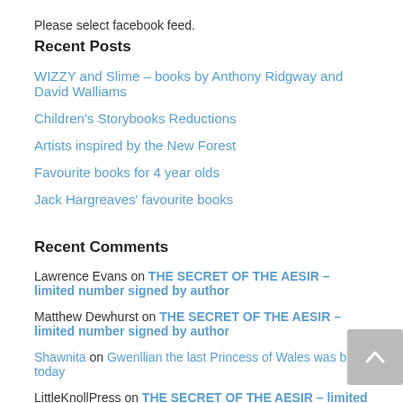Please select facebook feed.
Recent Posts
WIZZY and Slime – books by Anthony Ridgway and David Walliams
Children's Storybooks Reductions
Artists inspired by the New Forest
Favourite books for 4 year olds
Jack Hargreaves' favourite books
Recent Comments
Lawrence Evans on THE SECRET OF THE AESIR – limited number signed by author
Matthew Dewhurst on THE SECRET OF THE AESIR – limited number signed by author
Shawnita on Gwenllian the last Princess of Wales was born today
LittleKnollPress on THE SECRET OF THE AESIR – limited